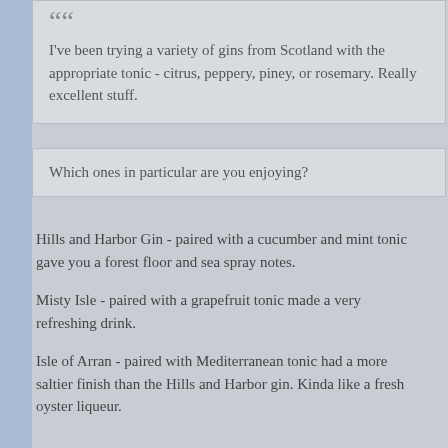I've been trying a variety of gins from Scotland with the appropriate tonic - citrus, peppery, piney, or rosemary. Really excellent stuff.
Which ones in particular are you enjoying?
Hills and Harbor Gin - paired with a cucumber and mint tonic gave you a forest floor and sea spray notes.
Misty Isle - paired with a grapefruit tonic made a very refreshing drink.
Isle of Arran - paired with Mediterranean tonic had a more saltier finish than the Hills and Harbor gin. Kinda like a fresh oyster liqueur.